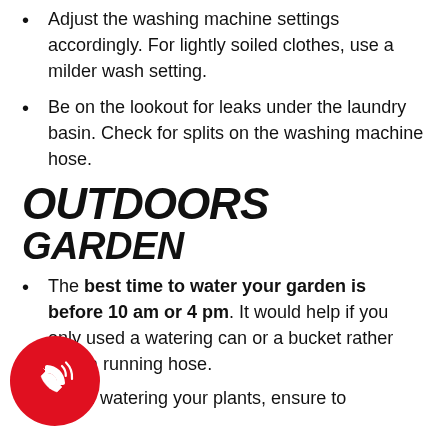Adjust the washing machine settings accordingly. For lightly soiled clothes, use a milder wash setting.
Be on the lookout for leaks under the laundry basin. Check for splits on the washing machine hose.
OUTDOORS
GARDEN
The best time to water your garden is before 10 am or 4 pm. It would help if you only used a watering can or a bucket rather than a running hose.
When watering your plants, ensure to
[Figure (illustration): Red circular phone call button with white phone/call icon with signal waves]